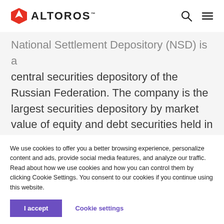ALTOROS
National Settlement Depository (NSD) is a central securities depository of the Russian Federation. The company is the largest securities depository by market value of equity and debt securities held in custody. NSD is part of the Moscow Exchange Group (MOEX)—the major exchange organization operating trading markets in Russia.
We use cookies to offer you a better browsing experience, personalize content and ads, provide social media features, and analyze our traffic. Read about how we use cookies and how you can control them by clicking Cookie Settings. You consent to our cookies if you continue using this website.